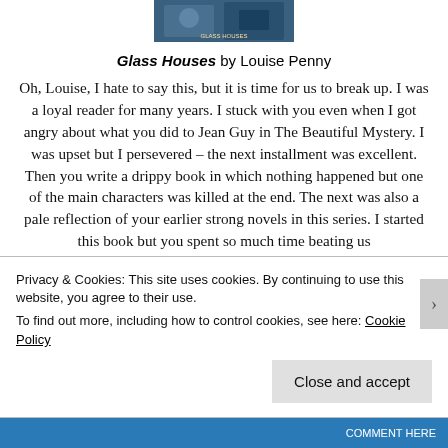[Figure (photo): Book cover image for Glass Houses by Louise Penny, cropped at top]
Glass Houses by Louise Penny
Oh, Louise, I hate to say this, but it is time for us to break up.  I was a loyal reader for many years.  I stuck with you even when I got angry about what you did to Jean Guy in The Beautiful Mystery.  I was upset but I persevered – the next installment was excellent.  Then you write a drippy book in which nothing happened but one of the main characters was killed at the end.  The next was also a pale reflection of your earlier strong novels in this series.  I started this book but you spent so much time beating us
Privacy & Cookies: This site uses cookies. By continuing to use this website, you agree to their use.
To find out more, including how to control cookies, see here: Cookie Policy
Close and accept